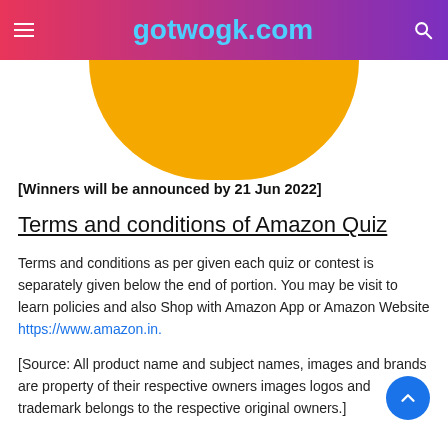gotwogk.com
[Figure (illustration): Orange semicircle/circle shape partially visible below the navigation header]
[Winners will be announced by 21 Jun 2022]
Terms and conditions of Amazon Quiz
Terms and conditions as per given each quiz or contest is separately given below the end of portion. You may be visit to learn policies and also Shop with Amazon App or Amazon Website https://www.amazon.in.
[Source: All product name and subject names, images and brands are property of their respective owners images logos and trademark belongs to the respective original owners.]